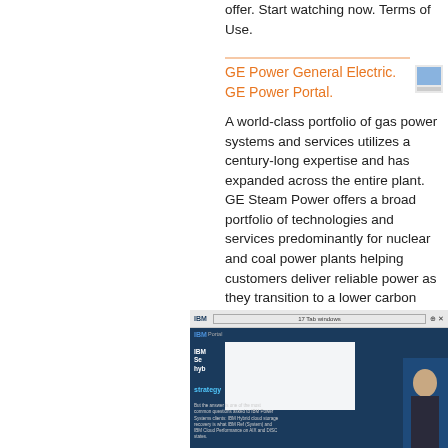offer. Start watching now. Terms of Use.
GE Power General Electric. GE Power Portal.
A world-class portfolio of gas power systems and services utilizes a century-long expertise and has expanded across the entire plant. GE Steam Power offers a broad portfolio of technologies and services predominantly for nuclear and coal power plants helping customers deliver reliable power as they transition to a lower carbon future.
[Figure (screenshot): Screenshot of IBM webpage showing IBM branding, navigation bar, blue background with content about IBM services including hybrid strategy text and a person in the background]